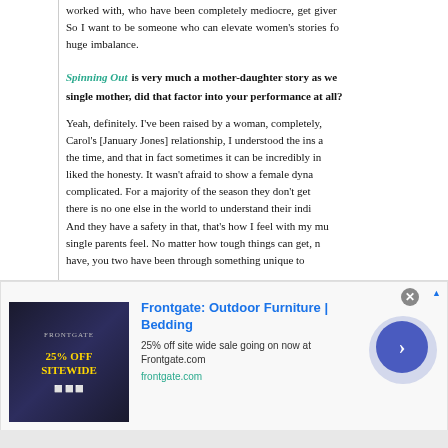worked with, who have been completely mediocre, get given... So I want to be someone who can elevate women's stories fo... huge imbalance.
Spinning Out is very much a mother-daughter story as we... single mother, did that factor into your performance at all?
Yeah, definitely. I've been raised by a woman, completely, Carol's [January Jones] relationship, I understood the ins a... the time, and that in fact sometimes it can be incredibly in... liked the honesty. It wasn't afraid to show a female dyna... complicated. For a majority of the season they don't get ... there is no one else in the world to understand their indi... And they have a safety in that, that's how I feel with my mu... single parents feel. No matter how tough things can get, n... have, you two have been through something unique to...
[Figure (screenshot): Advertisement banner for Frontgate: Outdoor Furniture | Bedding. Shows '25% off site wide sale going on now at Frontgate.com' with frontgate.com URL. Contains a dark-themed image with '25% OFF SITEWIDE' text and a blue navigation arrow button.]